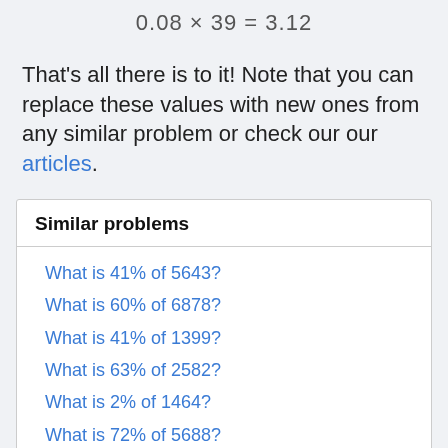That's all there is to it! Note that you can replace these values with new ones from any similar problem or check our our articles.
Similar problems
What is 41% of 5643?
What is 60% of 6878?
What is 41% of 1399?
What is 63% of 2582?
What is 2% of 1464?
What is 72% of 5688?
What is 87% of 6464?